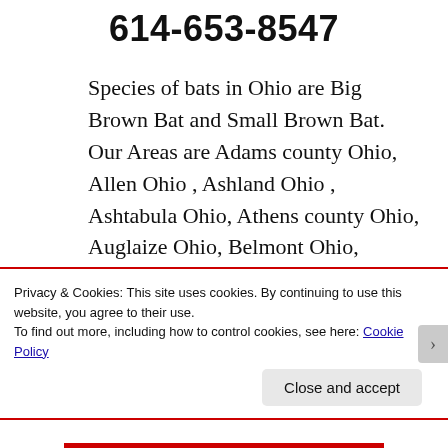614-653-8547
Species of bats in Ohio are Big Brown Bat and Small Brown Bat. Our Areas are Adams county Ohio, Allen Ohio , Ashland Ohio , Ashtabula Ohio, Athens county Ohio, Auglaize Ohio, Belmont Ohio, Brown Ohio, Butler Ohio , Carroll Ohio, Champaign Ohio,
Privacy & Cookies: This site uses cookies. By continuing to use this website, you agree to their use.
To find out more, including how to control cookies, see here: Cookie Policy
Close and accept